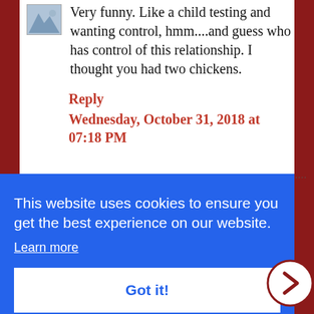Very funny. Like a child testing and wanting control, hmm....and guess who has control of this relationship. I thought you had two chickens.
Reply
Wednesday, October 31, 2018 at 07:18 PM
This website uses cookies to ensure you get the best experience on our website.
Learn more
Got it!